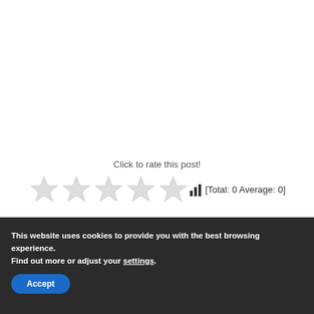Click to rate this post!
[Figure (other): Five empty/outline star icons for rating, followed by a bar chart icon and text [Total: 0 Average: 0]]
This website uses cookies to provide you with the best browsing experience.
Find out more or adjust your settings.
Accept